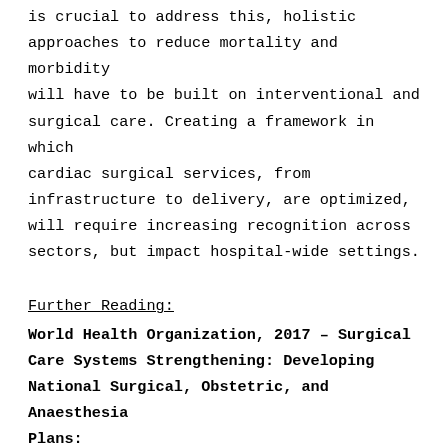is crucial to address this, holistic approaches to reduce mortality and morbidity will have to be built on interventional and surgical care. Creating a framework in which cardiac surgical services, from infrastructure to delivery, are optimized, will require increasing recognition across sectors, but impact hospital-wide settings.
Further Reading:
World Health Organization, 2017 – Surgical Care Systems Strengthening: Developing National Surgical, Obstetric, and Anaesthesia Plans:
http://apps.who.int/iris/bitstream/handle/106